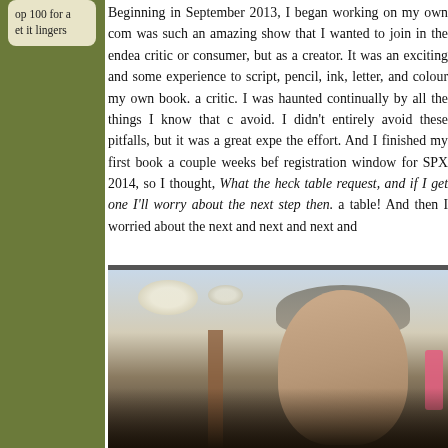op 100 for a et it lingers
Beginning in September 2013, I began working on my own com was such an amazing show that I wanted to join in the endea critic or consumer, but as a creator. It was an exciting and some experience to script, pencil, ink, letter, and colour my own book. a critic. I was haunted continually by all the things I know that c avoid. I didn't entirely avoid these pitfalls, but it was a great expe the effort. And I finished my first book a couple weeks bef registration window for SPX 2014, so I thought, What the heck table request, and if I get one I'll worry about the next step then. a table! And then I worried about the next and next and next and
[Figure (photo): A middle-aged man with grey hair and glasses smiling at camera, standing in what appears to be a convention hall or large indoor venue with ceiling lights and wooden booth structures visible.]